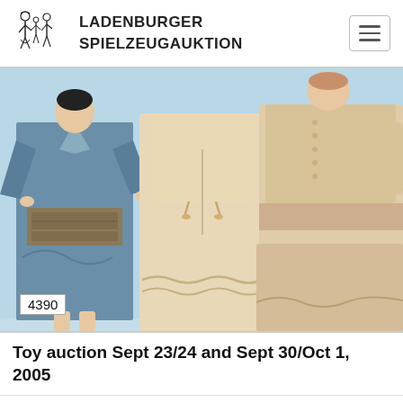[Figure (logo): Ladenburger Spielzeugauktion logo with illustrated children figures]
LADENBURGER SPIELZEUGAUKTION
[Figure (photo): Auction photo showing antique dolls with vintage clothing — a doll in blue kimono with decorative obi belt (lot 4390), white bloomers/petticoat garments, and a doll in cream/beige Victorian dress with buttons and lace trim, on light blue background]
4390
Toy auction Sept 23/24 and Sept 30/Oct 1, 2005
No. 4391
Limit: 150 €